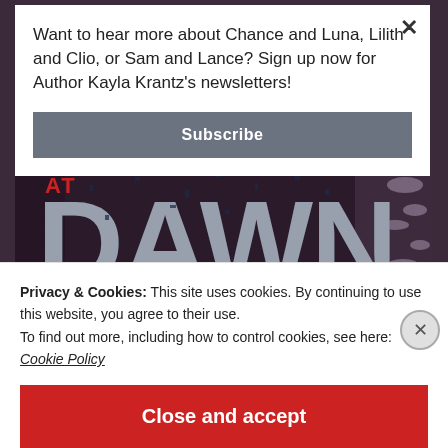Want to hear more about Chance and Luna, Lilith and Clio, or Sam and Lance? Sign up now for Author Kayla Krantz's newsletters!
Subscribe
[Figure (photo): Book cover showing the word DAWN in large distressed navy letters on a textured dark background with plant silhouettes]
Privacy & Cookies: This site uses cookies. By continuing to use this website, you agree to their use.
To find out more, including how to control cookies, see here:
Cookie Policy
Close and accept